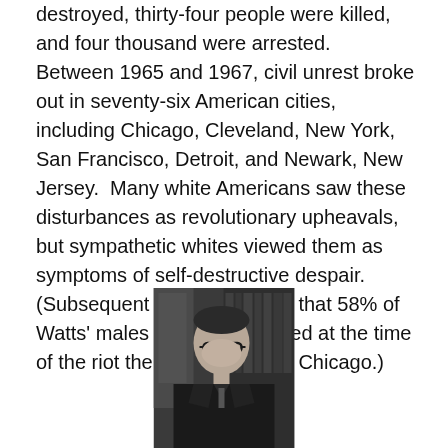destroyed, thirty-four people were killed, and four thousand were arrested.  Between 1965 and 1967, civil unrest broke out in seventy-six American cities, including Chicago, Cleveland, New York, San Francisco, Detroit, and Newark, New Jersey.  Many white Americans saw these disturbances as revolutionary upheavals, but sympathetic whites viewed them as  symptoms of self-destructive despair.  (Subsequent studies showed that 58% of Watts' males were unemployed at the time of the riot there and 37.6% in Chicago.)
[Figure (photo): Black and white photograph of a man in judicial robes wearing glasses, seated, with bookshelves and what appears to be a flag in the background.]